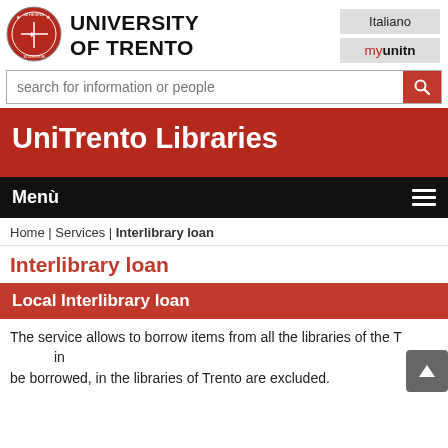[Figure (logo): University of Trento circular seal/logo in red and white]
UNIVERSITY OF TRENTO
Italiano
myunitn
search for information or people
UniTrento Libraries
Menù
Home | Services | Interlibrary loan
Interlibrary loan
Local Interlibrary loan
The service allows to borrow items from all the libraries of the Tr... be borrowed, in the libraries of Trento are excluded.